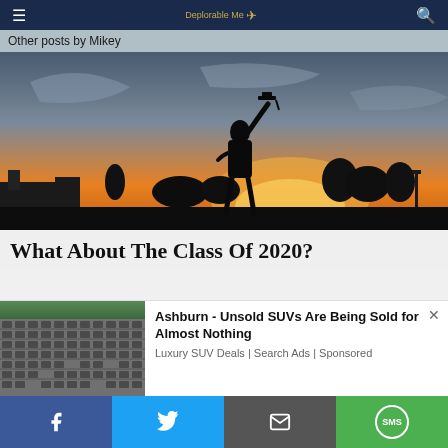≡  [logo] Deplorable Me  🔍
Other posts by Mikey
[Figure (photo): Silhouette of a graduating student tossing a mortarboard cap against a sunset sky]
What About The Class Of 2020?
[Figure (photo): Aerial view of a large parking lot filled with rows of cars]
Ashburn - Unsold SUVs Are Being Sold for Almost Nothing
Luxury SUV Deals | Search Ads | Sponsored
f  [Twitter]  [Email]  SMS